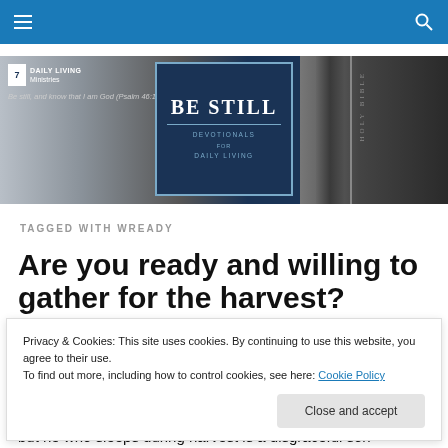Daily Living Ministries navigation bar
[Figure (screenshot): Daily Living Ministries banner with 'Be Still Devotionals for Daily Living' overlaid on a Holy Bible image. Logo top-left reads 'Daily Living Ministries'. Tagline: 'Be still, and know that I am God (Psalm 46:10)']
TAGGED WITH WREADY
Are you ready and willing to gather for the harvest?
Privacy & Cookies: This site uses cookies. By continuing to use this website, you agree to their use.
To find out more, including how to control cookies, see here: Cookie Policy
but he who sleeps during harvest is a disgraceful son